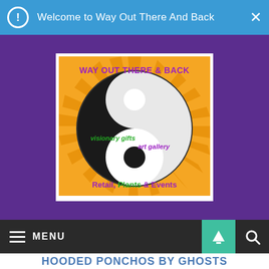Welcome to Way Out There And Back
[Figure (logo): Way Out There & Back store logo: yin-yang symbol on orange sunburst background, with text 'WAY OUT THERE & BACK', 'visionary gifts', 'art gallery', and 'Retail, Plants & Events']
MENU
HOODED PONCHOS BY GHOSTS